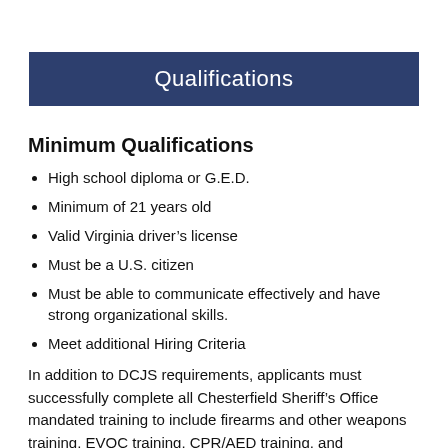Qualifications
Minimum Qualifications
High school diploma or G.E.D.
Minimum of 21 years old
Valid Virginia driver's license
Must be a U.S. citizen
Must be able to communicate effectively and have strong organizational skills.
Meet additional Hiring Criteria
In addition to DCJS requirements, applicants must successfully complete all Chesterfield Sheriff's Office mandated training to include firearms and other weapons training, EVOC training, CPR/AED training, and